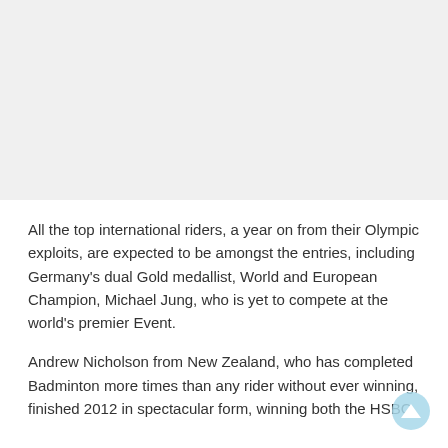All the top international riders, a year on from their Olympic exploits, are expected to be amongst the entries, including Germany's dual Gold medallist, World and European Champion, Michael Jung, who is yet to compete at the world's premier Event.
Andrew Nicholson from New Zealand, who has completed Badminton more times than any rider without ever winning, finished 2012 in spectacular form, winning both the HSBC